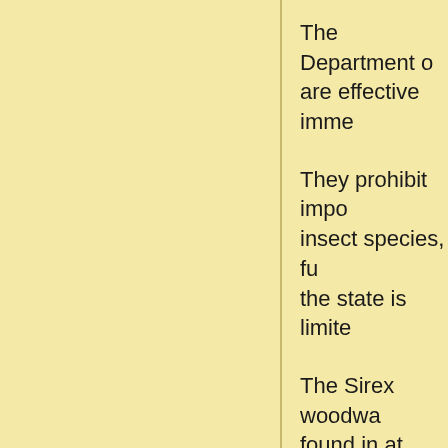The Department o... are effective imme...
They prohibit impo... insect species, fu... the state is limite...
The Sirex woodwa... found in at least 2... been found in Per...
Posted by Solomo... No comments: